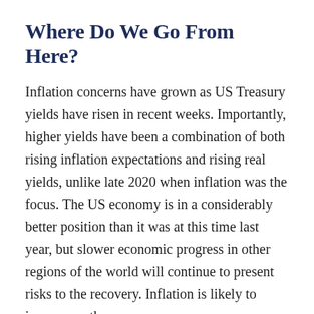Where Do We Go From Here?
Inflation concerns have grown as US Treasury yields have risen in recent weeks. Importantly, higher yields have been a combination of both rising inflation expectations and rising real yields, unlike late 2020 when inflation was the focus. The US economy is in a considerably better position than it was at this time last year, but slower economic progress in other regions of the world will continue to present risks to the recovery. Inflation is likely to increase as the